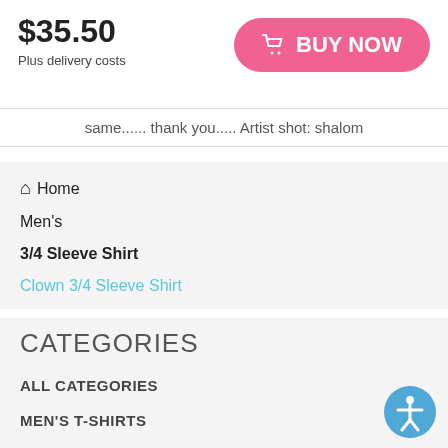$35.50
Plus delivery costs
BUY NOW
same...... thank you..... Artist shot: shalom
Home
Men's
3/4 Sleeve Shirt
Clown 3/4 Sleeve Shirt
CATEGORIES
ALL CATEGORIES
MEN'S T-SHIRTS
WOMEN'S T-SHIRTS